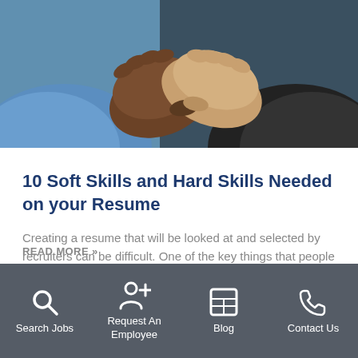[Figure (photo): Two people shaking hands, one wearing a blue shirt, close-up view showing the handshake against a blurred background.]
10 Soft Skills and Hard Skills Needed on your Resume
Creating a resume that will be looked at and selected by recruiters can be difficult. One of the key things that people often forget to…
READ MORE »
Search Jobs | Request An Employee | Blog | Contact Us